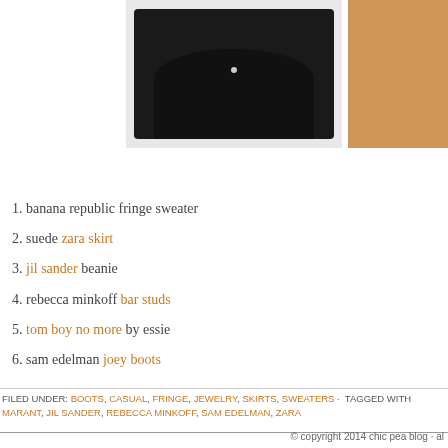[Figure (photo): A black shirt/sweater garment photographed against white background, partially cropped. On the right edge there is a brown boot partially visible.]
1. banana republic fringe sweater
2. suede zara skirt
3. jil sander beanie
4. rebecca minkoff bar studs
5. tom boy no more by essie
6. sam edelman joey boots
FILED UNDER: BOOTS, CASUAL, FRINGE, JEWELRY, SKIRTS, SWEATERS · TAGGED WITH: MARANT, JIL SANDER, REBECCA MINKOFF, SAM EDELMAN, ZARA
© copyright 2014 chic pea blog · al